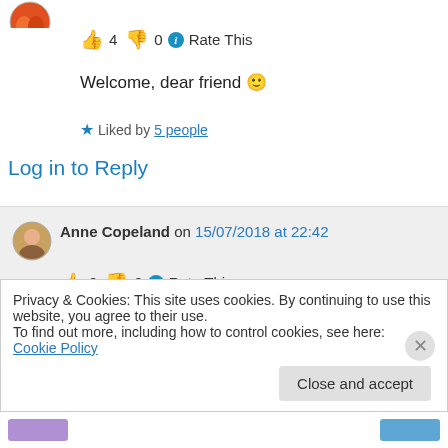[Figure (illustration): Small circular avatar icon (red/orange colors) partially visible at top left]
👍 4 👎 0 ℹ Rate This
Welcome, dear friend 🙂
★ Liked by 5 people
Log in to Reply
Anne Copeland on 15/07/2018 at 22:42
👍 0 👎 0 ℹ Rate This
Privacy & Cookies: This site uses cookies. By continuing to use this website, you agree to their use.
To find out more, including how to control cookies, see here: Cookie Policy
Close and accept